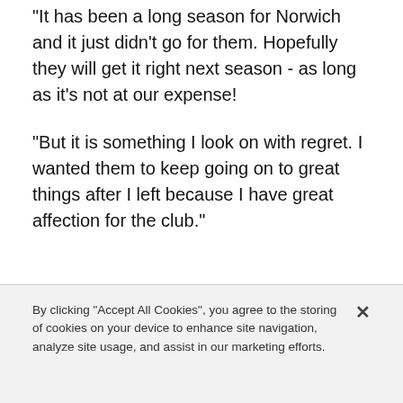“It has been a long season for Norwich and it just didn't go for them. Hopefully they will get it right next season - as long as it's not at our expense!
“But it is something I look on with regret. I wanted them to keep going on to great things after I left because I have great affection for the club.”
By clicking “Accept All Cookies”, you agree to the storing of cookies on your device to enhance site navigation, analyze site usage, and assist in our marketing efforts.